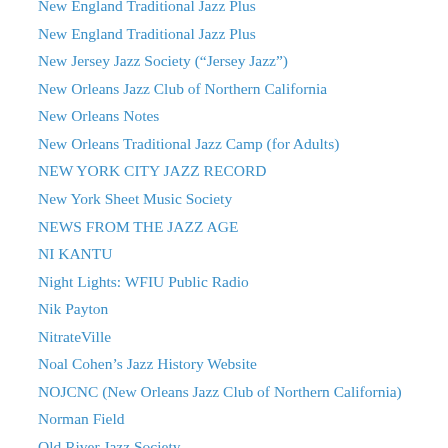New England Traditional Jazz Plus
New England Traditional Jazz Plus
New Jersey Jazz Society (“Jersey Jazz”)
New Orleans Jazz Club of Northern California
New Orleans Notes
New Orleans Traditional Jazz Camp (for Adults)
NEW YORK CITY JAZZ RECORD
New York Sheet Music Society
NEWS FROM THE JAZZ AGE
NI KANTU
Night Lights: WFIU Public Radio
Nik Payton
NitrateVille
Noal Cohen’s Jazz History Website
NOJCNC (New Orleans Jazz Club of Northern California)
Norman Field
Old River Jazz Society
Old Time Radio Catalog
Olivier Lancelot
On This Day In Jazz Age Music